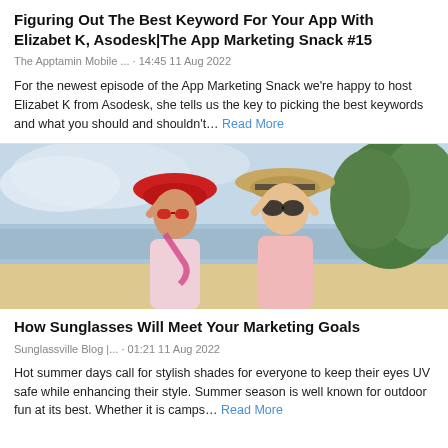Figuring Out The Best Keyword For Your App With Elizabet K, Asodesk|The App Marketing Snack #15
The Apptamin Mobile ... · 14:45 11 Aug 2022
For the newest episode of the App Marketing Snack we're happy to host Elizabet K from Asodesk, she tells us the key to picking the best keywords and what you should and shouldn't… Read More
[Figure (photo): Two young women on a beach smiling, one wearing a red wide-brim hat and red sunglasses, the other wearing a beige straw hat and dark sunglasses, both holding their hat brims with trees in the background]
How Sunglasses Will Meet Your Marketing Goals
Sunglassville Blog |... · 01:21 11 Aug 2022
Hot summer days call for stylish shades for everyone to keep their eyes UV safe while enhancing their style. Summer season is well known for outdoor fun at its best. Whether it is camps… Read More